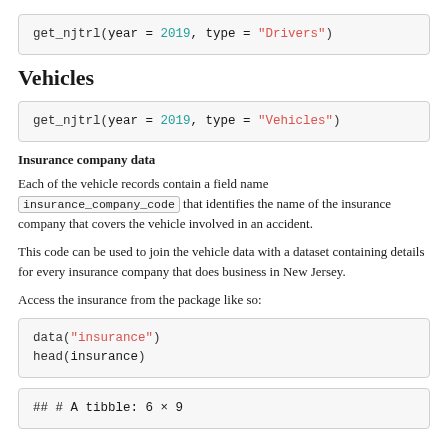get_njtrl(year = 2019, type = "Drivers")
Vehicles
get_njtrl(year = 2019, type = "Vehicles")
Insurance company data
Each of the vehicle records contain a field name insurance_company_code that identifies the name of the insurance company that covers the vehicle involved in an accident.
This code can be used to join the vehicle data with a dataset containing details for every insurance company that does business in New Jersey.
Access the insurance from the package like so:
data("insurance")
head(insurance)
## # A tibble: 6 × 9